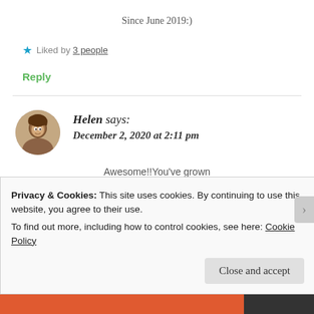Since June 2019:)
★ Liked by 3 people
Reply
Helen says: December 2, 2020 at 2:11 pm
Awesome!!You've grown
Privacy & Cookies: This site uses cookies. By continuing to use this website, you agree to their use.
To find out more, including how to control cookies, see here: Cookie Policy
Close and accept